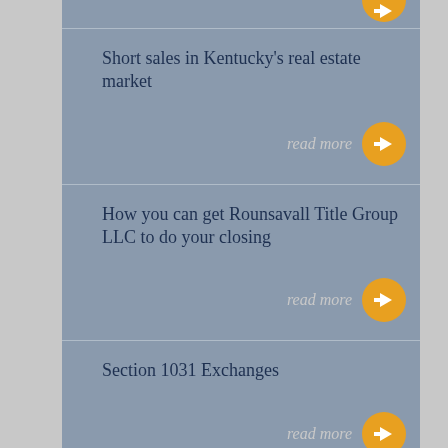Short sales in Kentucky's real estate market
How you can get Rounsavall Title Group LLC to do your closing
Section 1031 Exchanges